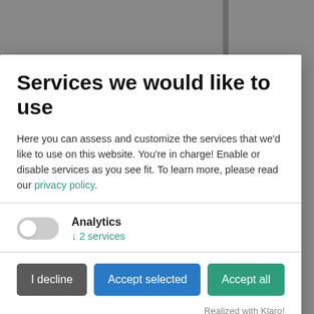Services we would like to use
Here you can assess and customize the services that we'd like to use on this website. You're in charge! Enable or disable services as you see fit. To learn more, please read our privacy policy.
Analytics ↓ 2 services
I decline | Accept selected | Accept all
Realized with Klaro!